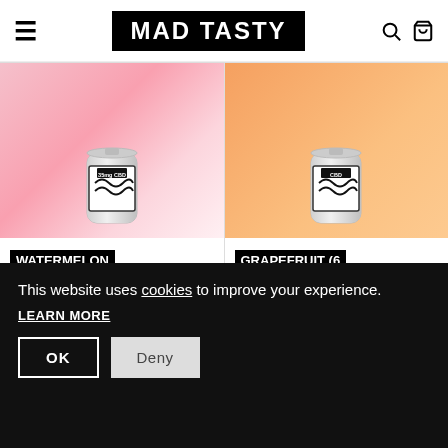MAD TASTY
[Figure (photo): Watermelon Kiwi product can on pink background]
WATERMELON KIWI (6 PACK)
Regular price $30.00
[Figure (photo): Grapefruit product can on orange background]
GRAPEFRUIT (6 PACK)
Regular price $30.00
This website uses cookies to improve your experience. LEARN MORE
OK
Deny